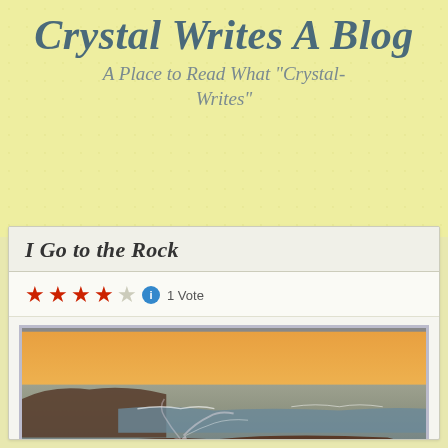Crystal Writes A Blog
A Place to Read What "Crystal-Writes"
I Go to the Rock
★★★★☆ ℹ 1 Vote
[Figure (photo): Coastal seascape at sunset showing rocky shore with waves splashing over rocks, warm orange sky in background, long exposure photo with silky water motion]